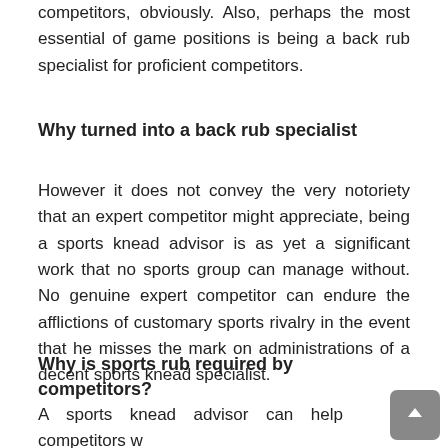competitors, obviously. Also, perhaps the most essential of game positions is being a back rub specialist for proficient competitors.
Why turned into a back rub specialist
However it does not convey the very notoriety that an expert competitor might appreciate, being a sports knead advisor is as yet a significant work that no sports group can manage without. No genuine expert competitor can endure the afflictions of customary sports rivalry in the event that he misses the mark on administrations of a decent sports knead specialist.
Why is sports rub required by competitors?
A sports knead advisor can help competitors who are going through overcompensation and